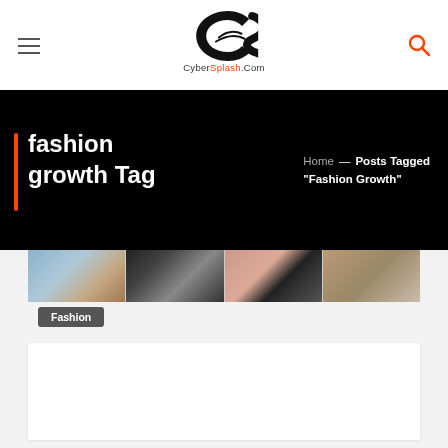CyberSplash.Com
fashion growth Tag
Home — Posts Tagged "Fashion Growth"
[Figure (photo): Horizontal strip of fashion/people images at top of article card]
Fashion